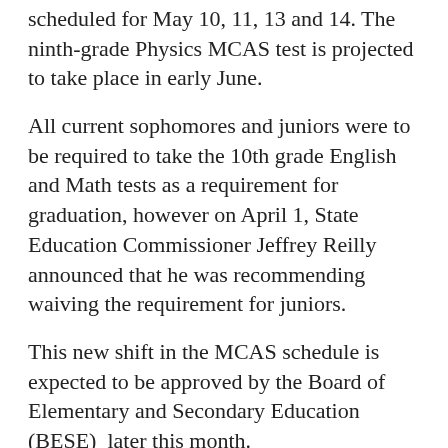scheduled for May 10, 11, 13 and 14. The ninth-grade Physics MCAS test is projected to take place in early June.
All current sophomores and juniors were to be required to take the 10th grade English and Math tests as a requirement for graduation, however on April 1, State Education Commissioner Jeffrey Reilly announced that he was recommending waiving the requirement for juniors.
This new shift in the MCAS schedule is expected to be approved by the Board of Elementary and Secondary Education (BESE)  later this month.
Freshmen students can opt-out of MCAS. Junior Zach Meurer said that the flexibility towards the  MCAS should be extended to upperclassmen.
“[The board] should consider people who have conflicts or